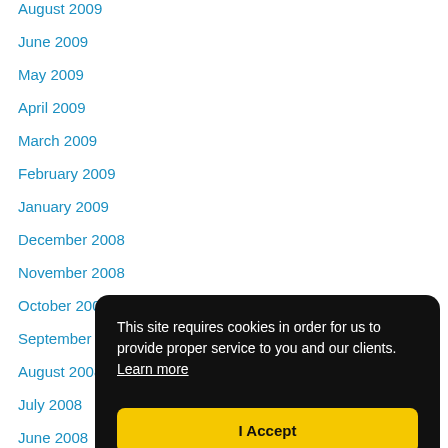August 2009
June 2009
May 2009
April 2009
March 2009
February 2009
January 2009
December 2008
November 2008
October 2008
September 2008
August 2008
July 2008
June 2008
May 2008
This site requires cookies in order for us to provide proper service to you and our clients.
Learn more
I Accept